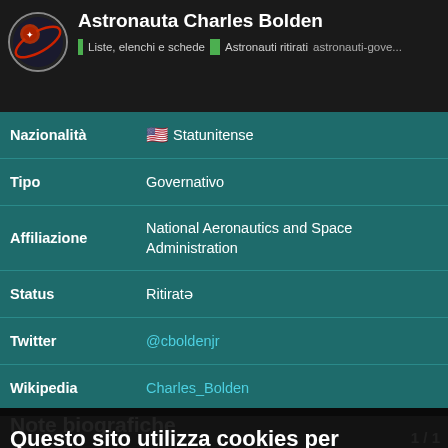Astronauta Charles Bolden | Liste, elenchi e schede | Astronauti ritirati | astronauti-gove...
| Campo | Valore |
| --- | --- |
| Nazionalità | 🇺🇸 Statunitense |
| Tipo | Governativo |
| Affiliazione | National Aeronautics and Space Administration |
| Status | Ritiratə |
| Twitter | @cboldenjr |
| Wikipedia | Charles_Bolden |
Note biografiche
Questo sito utilizza cookies per assicurarti la migliore esperienza d'uso possibile e per scopi statistici. Tutti i dettagli
(Traduzione automatica) Charles Frank Bolden Jr. is a retired United States Marine Corps Major General, and a former NASA astronaut.
A 1968 graduate of the United States N became a Marine Aviator and test pilot as an astronaut, he became Deputy Co...
OK
1 / 1